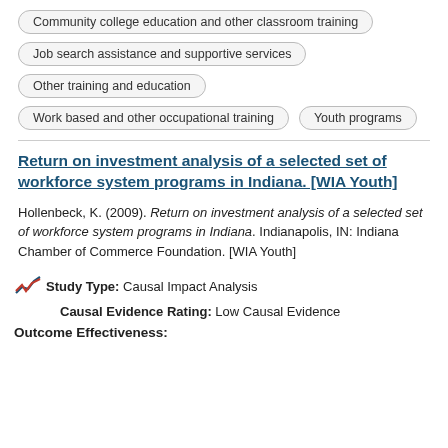Community college education and other classroom training
Job search assistance and supportive services
Other training and education
Work based and other occupational training
Youth programs
Return on investment analysis of a selected set of workforce system programs in Indiana. [WIA Youth]
Hollenbeck, K. (2009). Return on investment analysis of a selected set of workforce system programs in Indiana. Indianapolis, IN: Indiana Chamber of Commerce Foundation. [WIA Youth]
Study Type: Causal Impact Analysis
Causal Evidence Rating: Low Causal Evidence
Outcome Effectiveness: